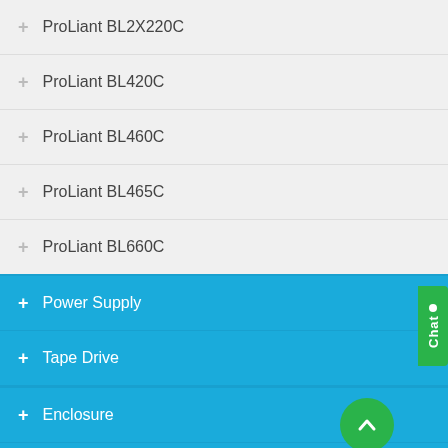+ ProLiant BL2X220C
+ ProLiant BL420C
+ ProLiant BL460C
+ ProLiant BL465C
+ ProLiant BL660C
+ Power Supply
+ Tape Drive
+ Enclosure
+ Processor
+ External Storage
+ Multimedia